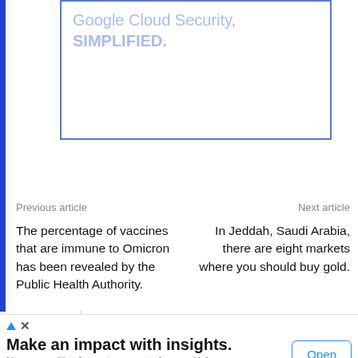[Figure (screenshot): Advertisement banner with blue border showing 'Google Cloud Security, SIMPLIFIED.' text in light blue, partially cropped at top]
Previous article
Next article
The percentage of vaccines that are immune to Omicron has been revealed by the Public Health Authority.
In Jeddah, Saudi Arabia, there are eight markets where you should buy gold.
[Figure (screenshot): Bottom advertisement banner: 'Make an impact with insights.' with subtext 'No more waiting for custom reports from multiple dashboards with Insights On the Go. Sense Forth' and an Open button]